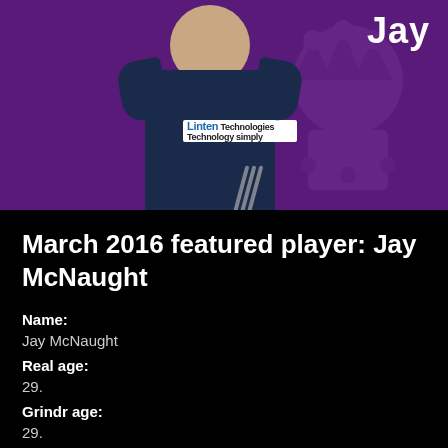[Figure (photo): Player profile photo of Jay McNaught in dark navy Adidas jersey with KRFC badge and Linten Technologies sponsor, set against a purple background with club crest watermark and name 'Jay' in top right]
March 2016 featured player: Jay McNaught
Name:
Jay McNaught
Real age:
29.
Grindr age:
29.